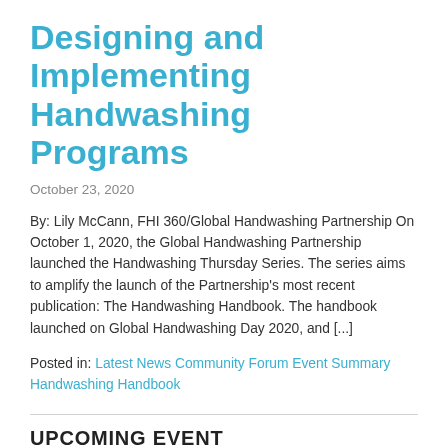Designing and Implementing Handwashing Programs
October 23, 2020
By: Lily McCann, FHI 360/Global Handwashing Partnership On October 1, 2020, the Global Handwashing Partnership launched the Handwashing Thursday Series. The series aims to amplify the launch of the Partnership's most recent publication: The Handwashing Handbook. The handbook launched on Global Handwashing Day 2020, and [...]
Posted in: Latest News Community Forum Event Summary Handwashing Handbook
UPCOMING EVENT